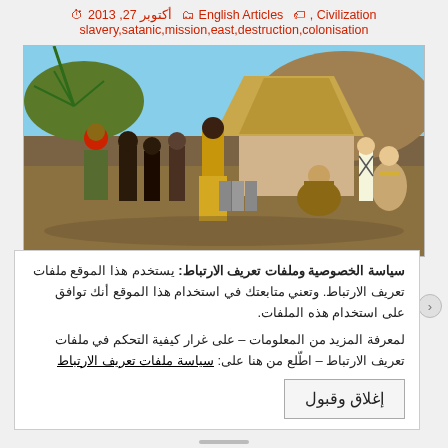أكتوبر 27, 2013   English Articles   Civilization ,
slavery,satanic,mission,east,destruction,colonisation
[Figure (illustration): Historical painting depicting a colonial scene with African and European figures, likely from the 19th century. Multiple figures are shown in an outdoor setting with thatched buildings.]
سياسة الخصوصية وملفات تعريف الارتباط: يستخدم هذا الموقع ملفات تعريف الارتباط. وتعني متابعتك في استخدام هذا الموقع أنك توافق على استخدام هذه الملفات. لمعرفة المزيد من المعلومات – على غرار كيفية التحكم في ملفات تعريف الارتباط – اطّلع من هنا على: سياسة ملفات تعريف الارتباط
إغلاق وقبول